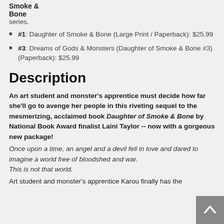Smoke & Bone series.
#1: Daughter of Smoke & Bone (Large Print / Paperback): $25.99
#3: Dreams of Gods & Monsters (Daughter of Smoke & Bone #3) (Paperback): $25.99
Description
An art student and monster's apprentice must decide how far she'll go to avenge her people in this riveting sequel to the mesmerizing, acclaimed book Daughter of Smoke & Bone by National Book Award finalist Laini Taylor -- now with a gorgeous new package!
Once upon a time, an angel and a devil fell in love and dared to imagine a world free of bloodshed and war.
This is not that world.
Art student and monster's apprentice Karou finally has the